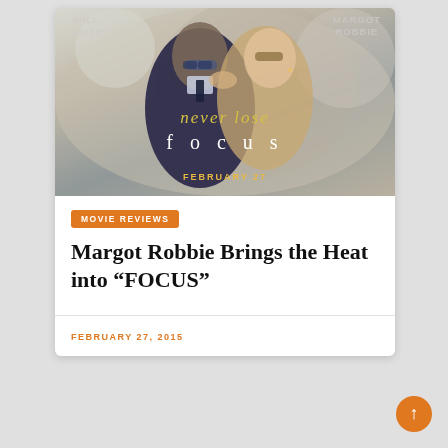[Figure (photo): Movie poster for FOCUS (2015) featuring Will Smith and Margot Robbie wearing sunglasses. Text reads 'never lose focus' in yellow/white letters, 'FEBRUARY 27' at bottom. Actor names 'WILL SMITH' top left and 'MARGOT ROBBIE' top right.]
MOVIE REVIEWS
Margot Robbie Brings the Heat into “FOCUS”
FEBRUARY 27, 2015